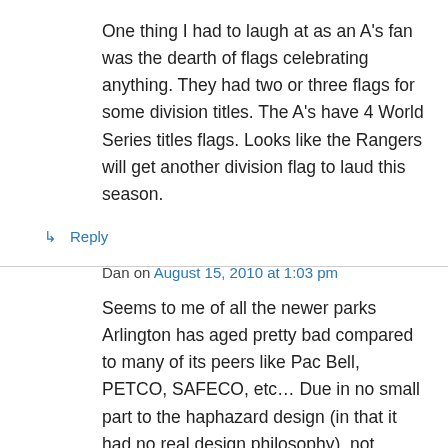One thing I had to laugh at as an A's fan was the dearth of flags celebrating anything. They had two or three flags for some division titles. The A's have 4 World Series titles flags. Looks like the Rangers will get another division flag to laud this season.
↳ Reply
Dan on August 15, 2010 at 1:03 pm
Seems to me of all the newer parks Arlington has aged pretty bad compared to many of its peers like Pac Bell, PETCO, SAFECO, etc… Due in no small part to the haphazard design (in that it had no real design philosophy), not having a roof in an area that screams for one, and the location